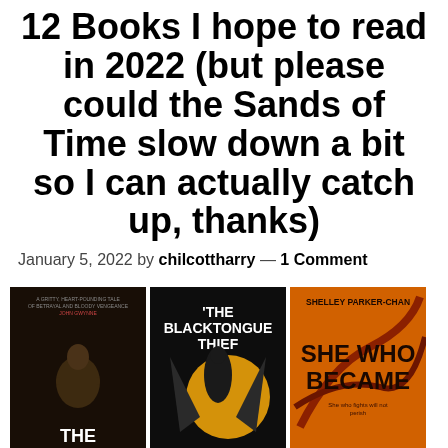12 Books I hope to read in 2022 (but please could the Sands of Time slow down a bit so I can actually catch up, thanks)
January 5, 2022 by chilcottharry — 1 Comment
[Figure (photo): Three book covers side by side: a dark gritty cover (left), The Blacktongue Thief in black and gold (center), and She Who Became with orange dragon imagery (right)]